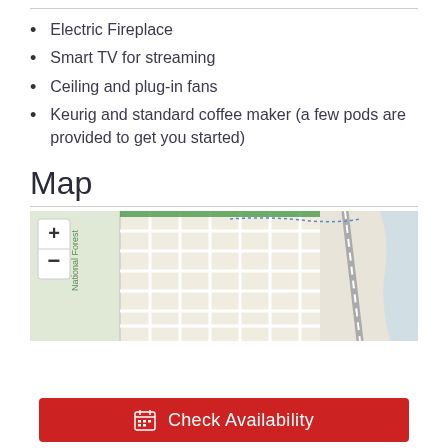Electric Fireplace
Smart TV for streaming
Ceiling and plug-in fans
Keurig and standard coffee maker (a few pods are provided to get you started)
Map
[Figure (map): Street map showing a grid of roads, a national forest area on the left, and a river/highway on the right with zoom +/- controls.]
Check Availability